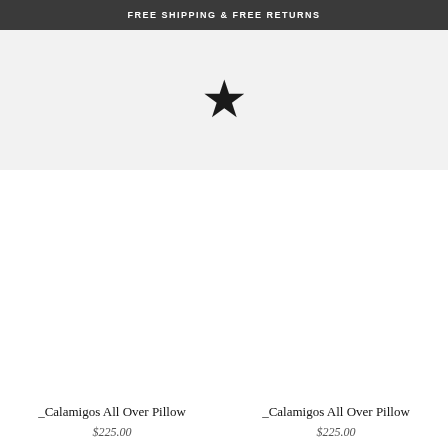FREE SHIPPING & FREE RETURNS
[Figure (illustration): A single black five-pointed star icon centered on a light gray background banner]
_Calamigos All Over Pillow
$225.00
_Calamigos All Over Pillow
$225.00